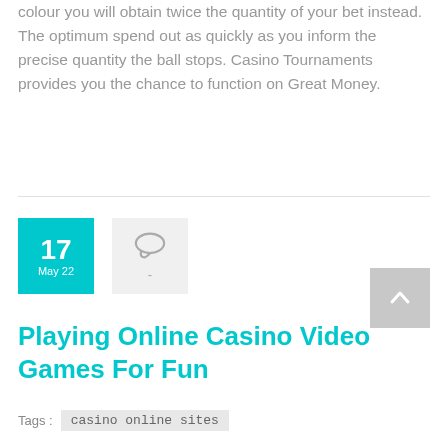colour you will obtain twice the quantity of your bet instead. The optimum spend out as quickly as you inform the precise quantity the ball stops. Casino Tournaments provides you the chance to function on Great Money.
Playing Online Casino Video Games For Fun
Tags : casino online sites